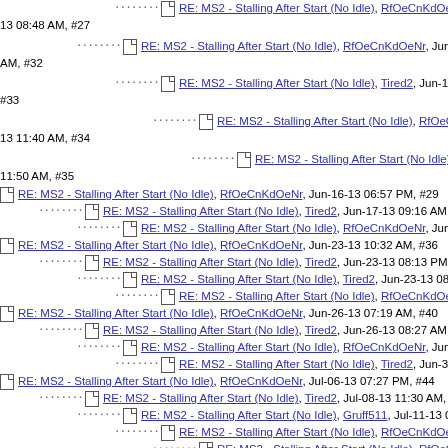RE: MS2 - Stalling After Start (No Idle), RfOeCnKdOe... (truncated top)
RE: MS2 - Stalling After Start (No Idle), RfOeCnKdOeNr, Jun-... AM, #32
RE: MS2 - Stalling After Start (No Idle), Tired2, Jun-17-13 #33
RE: MS2 - Stalling After Start (No Idle), RfOeCnKdOe... Jun-13 11:40 AM, #34
RE: MS2 - Stalling After Start (No Idle), Tired2, Jun-... 11:50 AM, #35
RE: MS2 - Stalling After Start (No Idle), RfOeCnKdOeNr, Jun-16-13 06:57 PM, #29
RE: MS2 - Stalling After Start (No Idle), Tired2, Jun-17-13 09:16 AM, #30
RE: MS2 - Stalling After Start (No Idle), RfOeCnKdOeNr, Jun-17-13 09:22 AM, #...
RE: MS2 - Stalling After Start (No Idle), RfOeCnKdOeNr, Jun-23-13 10:32 AM, #36
RE: MS2 - Stalling After Start (No Idle), Tired2, Jun-23-13 08:13 PM, #37
RE: MS2 - Stalling After Start (No Idle), Tired2, Jun-23-13 08:18 PM, #38
RE: MS2 - Stalling After Start (No Idle), RfOeCnKdOeNr, Jun-24-13 06:08 AM
RE: MS2 - Stalling After Start (No Idle), RfOeCnKdOeNr, Jun-26-13 07:19 AM, #40
RE: MS2 - Stalling After Start (No Idle), Tired2, Jun-26-13 08:27 AM, #41
RE: MS2 - Stalling After Start (No Idle), RfOeCnKdOeNr, Jun-30-13 12:42 PM, #...
RE: MS2 - Stalling After Start (No Idle), Tired2, Jun-30-13 12:58 PM, #43
RE: MS2 - Stalling After Start (No Idle), RfOeCnKdOeNr, Jul-06-13 07:27 PM, #44
RE: MS2 - Stalling After Start (No Idle), Tired2, Jul-08-13 11:30 AM, #45
RE: MS2 - Stalling After Start (No Idle), Gruff511, Jul-11-13 09:15 AM, #46
RE: MS2 - Stalling After Start (No Idle), RfOeCnKdOeNr, Jul-16-13 05:32 PM
RE: MS2 - Stalling After Start (No Idle), RfOeCnKdOeNr, Jul-17-13 06:58
RE: MS2 - Stalling After Start (No Idle), Tired2, Jul-17-13 08:33 AM, #...